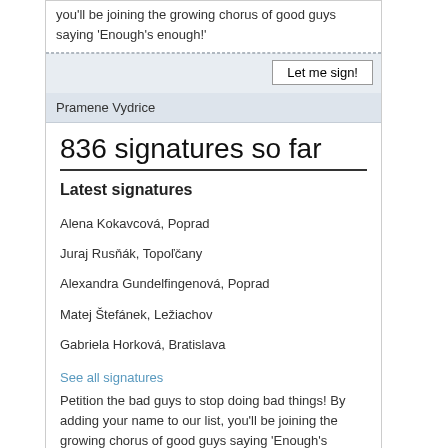you'll be joining the growing chorus of good guys saying 'Enough's enough!'
Let me sign!
Pramene Vydrice
836 signatures so far
Latest signatures
Alena Kokavcová, Poprad
Juraj Rusňák, Topoľčany
Alexandra Gundelfingenová, Poprad
Matej Štefánek, Ležiachov
Gabriela Horková, Bratislava
See all signatures
Petition the bad guys to stop doing bad things! By adding your name to our list, you'll be joining the growing chorus of good guys saying 'Enough's enough!'
Let me sign!